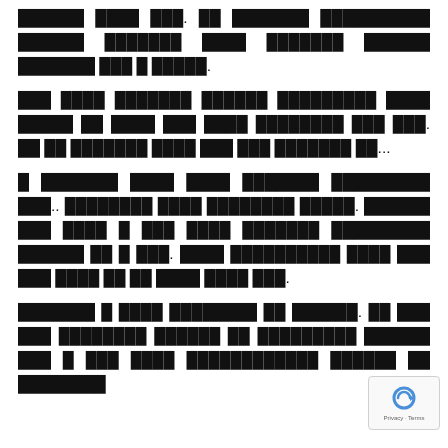██████ ████ ███. ██ ███████ ██████████ ██████ ███████ ████ ███████ ██████ ███████ ███ █ █████.
███ ████ ███████ ██████ █████████ ████ █████ ██ ████ ███ ████ ████████ ███ ███. ██ ██ ███████ ████ ███ ███ ███████ ██...
█ ███████ ████ ████ ███████ █████████ ███.. ████████ ████ ████████ █████. ██████ ███ ████ █ ███ ████ ███████ █████████ ██████ ██ █ ███. ████ ██████████ ████ ███ ███ ████ ██ ██ ████ ████ ███.
███████ █ ████ ████████ ██ ██████. ██ ███ ███ ████████ ██████ ██ █████████ ██████ ███ █ ███ ████ ████████████ ██████ ██ ████████